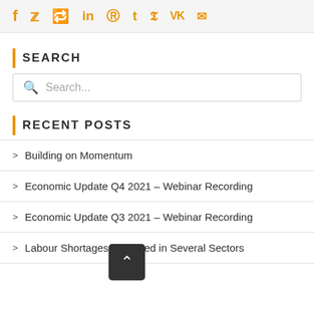[Figure (other): Social sharing icons: Facebook, Twitter, Reddit, LinkedIn, WhatsApp, Tumblr, Pinterest, VK, Email — all in orange]
SEARCH
[Figure (other): Search input box with magnifying glass icon and placeholder text 'Search...']
RECENT POSTS
Building on Momentum
Economic Update Q4 2021 – Webinar Recording
Economic Update Q3 2021 – Webinar Recording
Labour Shortages Predicted in Several Sectors